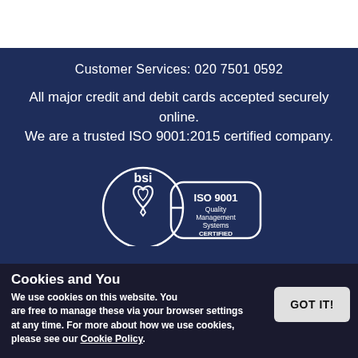Customer Services: 020 7501 0592
All major credit and debit cards accepted securely online. We are a trusted ISO 9001:2015 certified company.
[Figure (logo): BSI ISO 9001 Quality Management Systems CERTIFIED logo — circular emblem with heart/shield motif and rounded rectangle badge]
2022 © Health and Care (UK) Ltd
Registration No. 08999815
Registered in England and Wales
Unit 4, Addison Gardens, London, SW14 6BD
Cookies and You
We use cookies on this website. You are free to manage these via your browser settings at any time. For more about how we use cookies, please see our Cookie Policy.